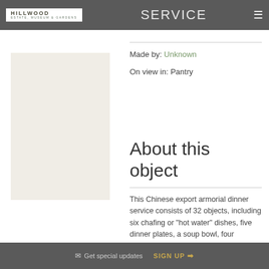SERVICE
[Figure (photo): Museum object photo placeholder - light beige/cream colored rectangular area]
Made by: Unknown
On view in: Pantry
About this object
This Chinese export armorial dinner service consists of 32 objects, including six chafing or "hot water" dishes, five dinner plates, a soup bowl, four covered potted creams,
Get special updates   SIGN UP →